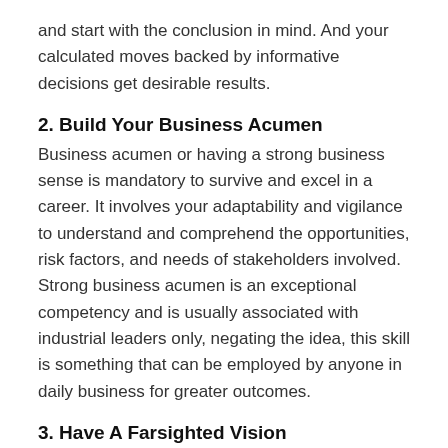and start with the conclusion in mind. And your calculated moves backed by informative decisions get desirable results.
2. Build Your Business Acumen
Business acumen or having a strong business sense is mandatory to survive and excel in a career. It involves your adaptability and vigilance to understand and comprehend the opportunities, risk factors, and needs of stakeholders involved. Strong business acumen is an exceptional competency and is usually associated with industrial leaders only, negating the idea, this skill is something that can be employed by anyone in daily business for greater outcomes.
3. Have A Farsighted Vision
Anyone who is impeccably focused and passionate, who has the ability to observe and